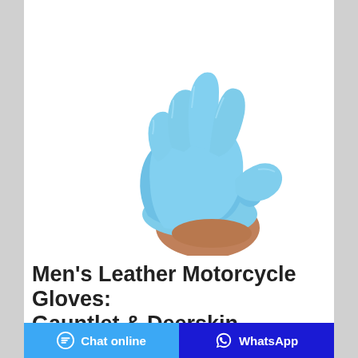[Figure (photo): Two blue nitrile gloves being put on, against a white background. One glove is splayed open showing all five fingers, the other is partially pulled over a hand/wrist.]
Men's Leather Motorcycle Gloves: Gauntlet & Deerskin ...
At Leather Bound we stock the best selection of quality made leather biker gloves for men in a